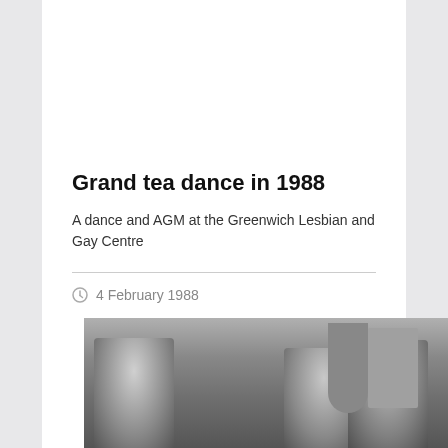Grand tea dance in 1988
A dance and AGM at the Greenwich Lesbian and Gay Centre
4 February 1988
[Figure (photo): Black and white photograph of people at a dance event at the Greenwich Lesbian and Gay Centre in 1988, showing several people and interior decor including a plant and wall decorations.]